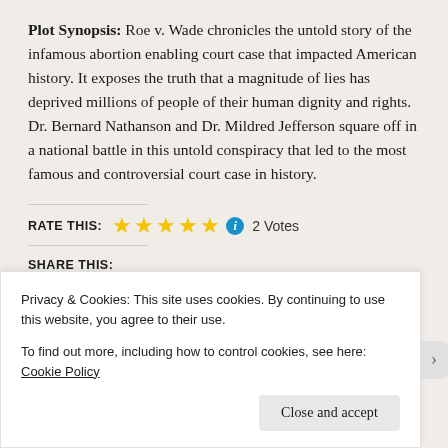Plot Synopsis: Roe v. Wade chronicles the untold story of the infamous abortion enabling court case that impacted American history. It exposes the truth that a magnitude of lies has deprived millions of people of their human dignity and rights. Dr. Bernard Nathanson and Dr. Mildred Jefferson square off in a national battle in this untold conspiracy that led to the most famous and controversial court case in history.
RATE THIS: ★★★★★ ℹ 2 Votes
SHARE THIS:
Privacy & Cookies: This site uses cookies. By continuing to use this website, you agree to their use. To find out more, including how to control cookies, see here: Cookie Policy
Close and accept